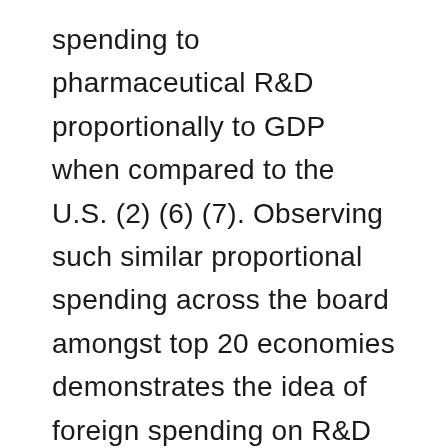spending to pharmaceutical R&D proportionally to GDP when compared to the U.S. (2) (6) (7). Observing such similar proportional spending across the board amongst top 20 economies demonstrates the idea of foreign spending on R&D not carrying its own weight is objectively false. As far as innovation goes, Europe is standing nearly toe-to-toe with the US in the number of new chemical or biological entities developed. Between 2012 and 2016, approximately 32 percent of new molecular entities were developed in Europe, and 38 percent in the U.S. (8). Weighted against total R&D expenditure, Europe actually produces more new